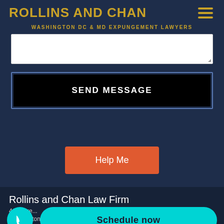ROLLINS AND CHAN
WASHINGTON DC & MD EXPUNGEMENT LAWYERS
[Figure (screenshot): White text area input box]
SEND MESSAGE
Help Me
Rollins and Chan Law Firm
41... Washington DC 2000...
Schedule now